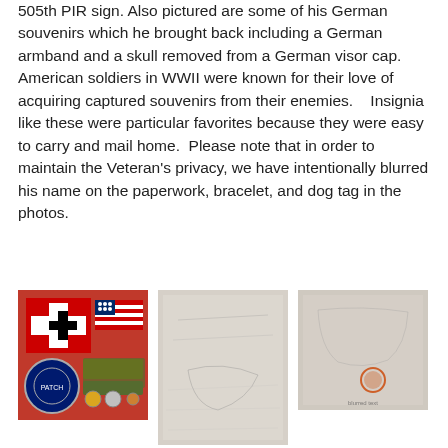505th PIR sign. Also pictured are some of his German souvenirs which he brought back including a German armband and a skull removed from a German visor cap. American soldiers in WWII were known for their love of acquiring captured souvenirs from their enemies.   Insignia like these were particular favorites because they were easy to carry and mail home.  Please note that in order to maintain the Veteran's privacy, we have intentionally blurred his name on the paperwork, bracelet, and dog tag in the photos.
[Figure (photo): Collection of WWII military souvenirs and insignia including a German flag with swastika, American flag, unit patches, medals, and other military items arranged on a surface]
[Figure (photo): A white/light colored fabric item (possibly an armband or cloth document) with faint handwriting or markings visible on it]
[Figure (photo): A light colored fabric or paper item with faint markings and a small circular seal or emblem visible near the bottom]